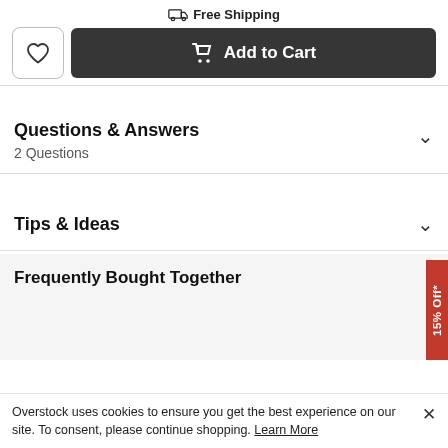Free Shipping
Add to Cart
Questions & Answers
2 Questions
Tips & Ideas
Frequently Bought Together
15% Off*
Overstock uses cookies to ensure you get the best experience on our site. To consent, please continue shopping. Learn More